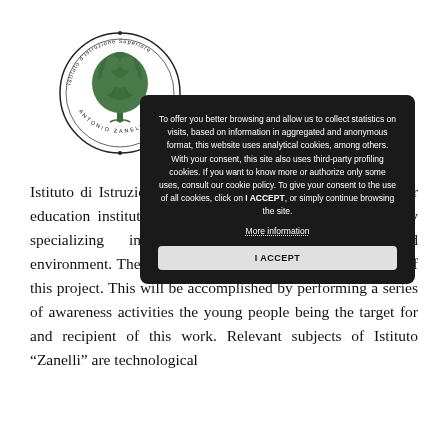[Figure (logo): Circular seal/logo of Istituto d'Istruzione Superiore Antonio Zanelli featuring a tree (oak/plane tree) in the center with text around the border reading 'Istituto d'Istruzione Superiore' and 'ANTONIO ZANELLI']
To offer you better browsing and allow us to collect statistics on visits, based on information in aggregated and anonymous format, this website uses analytical cookies, among others. With your consent, this site also uses third-party profiling cookies. If you want to know more or authorize only some uses, consult our cookie policy. To give your consent to the use of all cookies, click on I ACCEPT, or simply continue browsing the site.
More information
I ACCEPT
Istituto di Istruzione Superiore"Antonio Zanelli" is a higher education institution that includes various courses of study specializing in agriculture, agri-management and environment. These courses are well suited to the purposes of this project. This will be accomplished by performing a series of awareness activities the young people being the target for and recipient of this work. Relevant subjects of Istituto "Zanelli" are technological